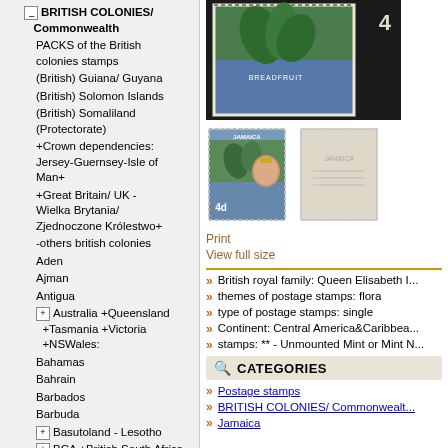BRITISH COLONIES/ Commonwealth
PACKS of the British colonies stamps
(British) Guiana/ Guyana
(British) Solomon Islands
(British) Somaliland (Protectorate)
+Crown dependencies: Jersey-Guernsey-Isle of Man+
+Great Britain/ UK - Wielka Brytania/ Zjednoczone Królestwo+
-others british colonies
Aden
Ajman
Antigua
Australia +Queensland +Tasmania +Victoria +NSWales:
Bahamas
Bahrain
Barbados
Barbuda
Basutoland - Lesotho
BCA +British South Africa Co. +Sth&Nth Rhodesia +Nyasaland
Bechuanaland - Botswana
Bermuda
Bhutan
[Figure (photo): Close-up of a Jamaica stamp showing breadfruit plant and value 4d, on dark background]
[Figure (photo): Small thumbnail of Jamaica Queen Elizabeth II stamp, 4d value, blue and green]
[Figure (photo): Small thumbnail of stamp back/reverse side]
Print
View full size
British royal family: Queen Elisabeth I...
themes of postage stamps: flora
type of postage stamps: single
Continent: Central America&Caribbea...
stamps: ** - Unmounted Mint or Mint N...
CATEGORIES
Postage stamps
BRITISH COLONIES/ Commonwealt...
Jamaica